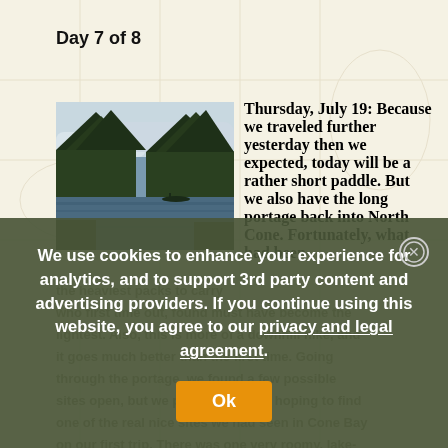Day 7 of 8
Thursday, July 19: Because we traveled further yesterday then we expected, today will be a rather short paddle. But we also have the long portage back into North Cone. Fortunately, what had been the heaviest packs to carry
[Figure (photo): Photo of a river or lake waterway with dense conifer trees lining the banks, overcast sky, canoe visible in distance]
who first time out, found must have become the lightest. Also, this is more of a downhill hike, and it goes much better than the first time. Going through the portage, we found a few possible sites open, but we passed on them hoping to find one of the real nice sites we had seen in Cone Bay on our first trip. There was one very roomy, lake-sized site, that someone on this board had rate
We use cookies to enhance your experience for analytics, and to support 3rd party content and advertising providers. If you continue using this website, you agree to our privacy and legal agreement.
Ok